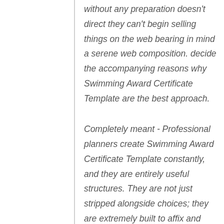without any preparation doesn't direct they can't begin selling things on the web bearing in mind a serene web composition. decide the accompanying reasons why Swimming Award Certificate Template are the best approach.
Completely meant - Professional planners create Swimming Award Certificate Template constantly, and they are entirely useful structures. They are not just stripped alongside choices; they are extremely built to affix and work. An individual should comprehensibly transfer pictures, occupy in portrayals and values, and the site is good to go.